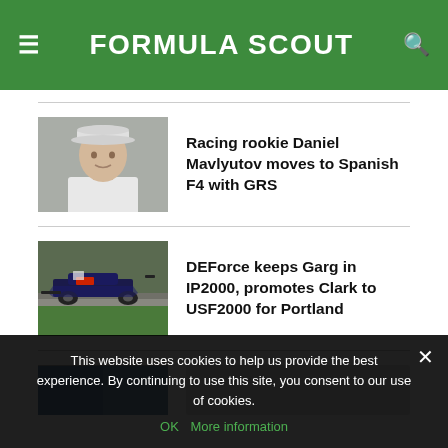FORMULA SCOUT
[Figure (photo): Young man wearing a white cap, portrait photo for racing article]
Racing rookie Daniel Mavlyutov moves to Spanish F4 with GRS
[Figure (photo): Racing car on track, dark blue formula car on a circuit]
DEForce keeps Garg in IP2000, promotes Clark to USF2000 for Portland
[Figure (photo): Partially visible third article thumbnail]
This website uses cookies to help us provide the best experience. By continuing to use this site, you consent to our use of cookies.
OK   More information